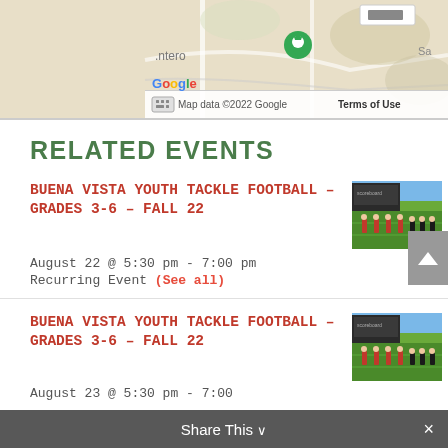[Figure (map): Google Maps partial view showing a location pin with street map, Google logo, 'Map data ©2022 Google', and 'Terms of Use' link.]
RELATED EVENTS
BUENA VISTA YOUTH TACKLE FOOTBALL – GRADES 3-6 – FALL 22
August 22 @ 5:30 pm - 7:00 pm
Recurring Event (See all)
[Figure (photo): Photo of youth football players on a green field with a scoreboard/building visible in the background. Players in red and black uniforms.]
BUENA VISTA YOUTH TACKLE FOOTBALL – GRADES 3-6 – FALL 22
August 23 @ 5:30 pm - 7:00 pm
[Figure (photo): Same photo of youth football players on a green field with scoreboard in background.]
Share This